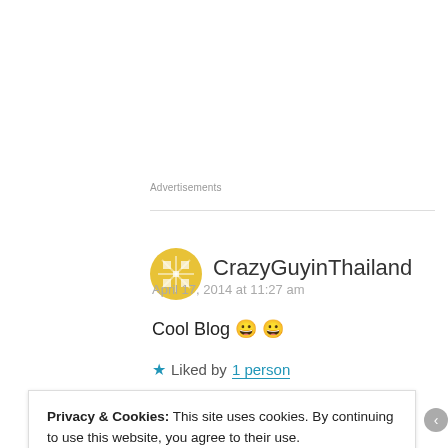Advertisements
CrazyGuyinThailand
April 17, 2014 at 11:27 am
Cool Blog 😀 😀
★ Liked by 1 person
Privacy & Cookies: This site uses cookies. By continuing to use this website, you agree to their use.
To find out more, including how to control cookies, see here:
Cookie Policy
Close and accept